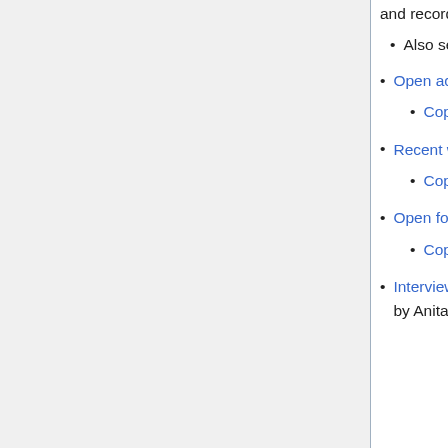and recorded April 9, 2012.
Also see my blog post on this event for some follow-up discussion.
Open access as humanitarian aid, SPARC Open Access Newsletter, April 2, 2011.
Copy at Earlham.
Recent watershed events, SPARC Open Access Newsletter, March 2, 2011.
Copy in DASH.
Open for edits, SPARC Open Access Newsletter, March 2, 2011.
Copy at Earlham.
Interview with Peter Suber, Springer Author Zone, February 11, 2012. An interview with me by Anita